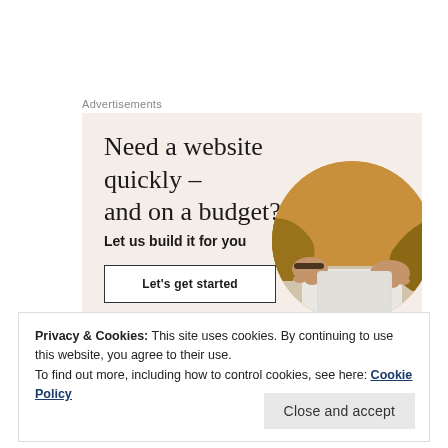Advertisements
[Figure (illustration): Advertisement banner with beige/cream background. Large serif text reads 'Need a website quickly – and on a budget?' with subtitle 'Let us build it for you', a white button labeled 'Let's get started', and a circular cropped photo of a person's hands using a laptop/device on the right side.]
Privacy & Cookies: This site uses cookies. By continuing to use this website, you agree to their use.
To find out more, including how to control cookies, see here: Cookie Policy
Close and accept